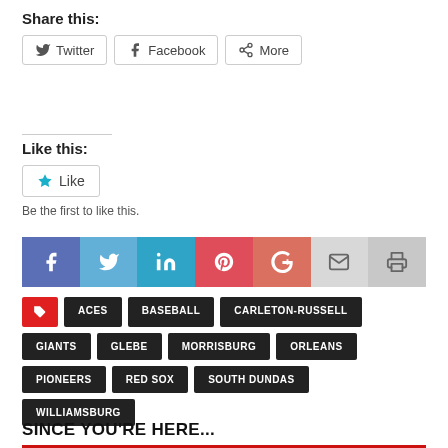Share this:
Twitter  Facebook  More
Like this:
Like
Be the first to like this.
[Figure (infographic): Social sharing bar with icons for Facebook, Twitter, LinkedIn, Pinterest, Google+, Email, Print]
ACES
BASEBALL
CARLETON-RUSSELL
GIANTS
GLEBE
MORRISBURG
ORLEANS
PIONEERS
RED SOX
SOUTH DUNDAS
WILLIAMSBURG
SINCE YOU'RE HERE...